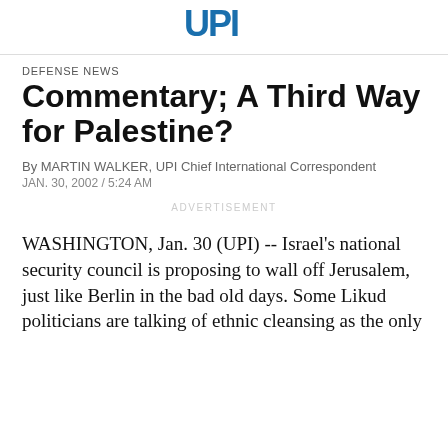UPI
DEFENSE NEWS
Commentary; A Third Way for Palestine?
By MARTIN WALKER, UPI Chief International Correspondent
JAN. 30, 2002 / 5:24 AM
ADVERTISEMENT
WASHINGTON, Jan. 30 (UPI) -- Israel's national security council is proposing to wall off Jerusalem, just like Berlin in the bad old days. Some Likud politicians are talking of ethnic cleansing as the only